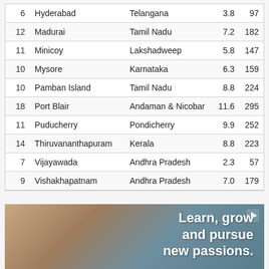| 6 | Hyderabad | Telangana | 3.8 | 97 |
| 12 | Madurai | Tamil Nadu | 7.2 | 182 |
| 11 | Minicoy | Lakshadweep | 5.8 | 147 |
| 10 | Mysore | Karnataka | 6.3 | 159 |
| 10 | Pamban Island | Tamil Nadu | 8.8 | 224 |
| 18 | Port Blair | Andaman & Nicobar | 11.6 | 295 |
| 11 | Puducherry | Pondicherry | 9.9 | 252 |
| 14 | Thiruvananthapuram | Kerala | 8.8 | 223 |
| 7 | Vijayawada | Andhra Pradesh | 2.3 | 57 |
| 9 | Vishakhapatnam | Andhra Pradesh | 7.0 | 179 |
[Figure (photo): Advertisement image showing an older woman with white hair painting at an easel with other people in the background. Text overlay reads: Learn, grow and pursue new passions.]